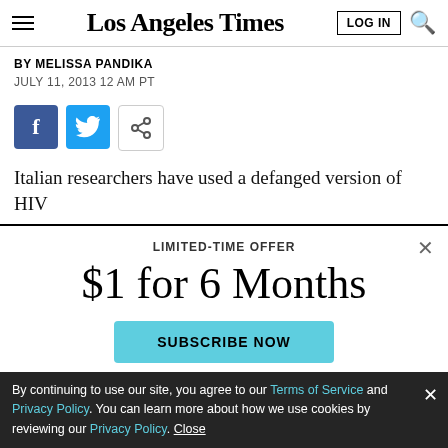Los Angeles Times
BY MELISSA PANDIKA
JULY 11, 2013 12 AM PT
[Figure (screenshot): Social share buttons: Facebook, Twitter, and share icon]
Italian researchers have used a defanged version of HIV
LIMITED-TIME OFFER
$1 for 6 Months
SUBSCRIBE NOW
By continuing to use our site, you agree to our Terms of Service and Privacy Policy. You can learn more about how we use cookies by reviewing our Privacy Policy. Close